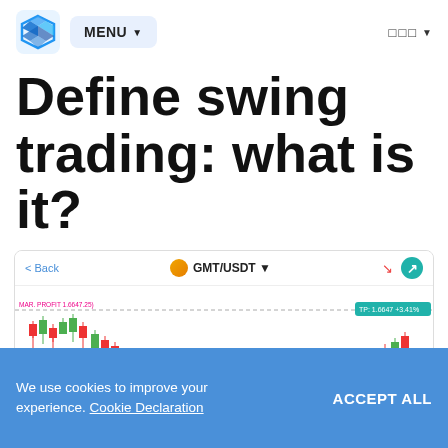MENU · □□□
Define swing trading: what is it?
[Figure (screenshot): Screenshot of a crypto trading interface showing a candlestick chart for GMT/USDT with red and green candles, take profit and stop loss lines marked with dashed lines, and price labels on the right (TP: 1.6647 +3.41%, 1.5225 -3.74%, MC: 1.4695 -3.41%)]
We use cookies to improve your experience. Cookie Declaration
ACCEPT ALL